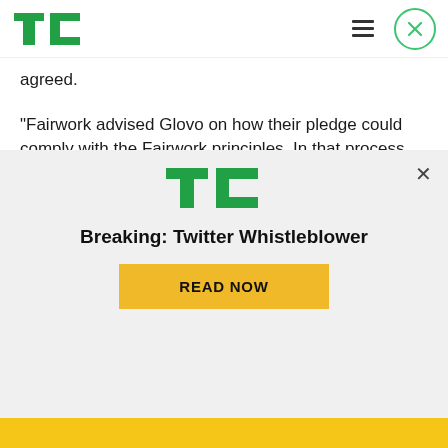TechCrunch
agreed.
“Fairwork advised Glovo on how their pledge could comply with the Fairwork principles. In that process we advised them that workers should be paid for waiting time at the rate of the living wage,” researcher Alessio Bertolini told us.
“Fairwork will be auditing and scoring Glovo on that
[Figure (screenshot): TechCrunch promotional modal overlay with logo, headline 'Breaking: Twitter Whistleblower', and a yellow 'READ NOW' button]
Breaking: Twitter Whistleblower